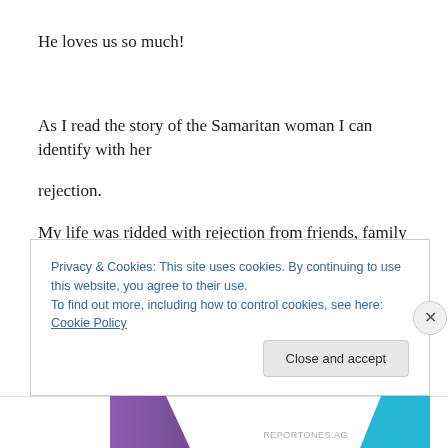He loves us so much!
As I read the story of the Samaritan woman I can identify with her
rejection.
My life was ridded with rejection from friends, family and people I
Privacy & Cookies: This site uses cookies. By continuing to use this website, you agree to their use.
To find out more, including how to control cookies, see here: Cookie Policy
Close and accept
REPORTONES.AG